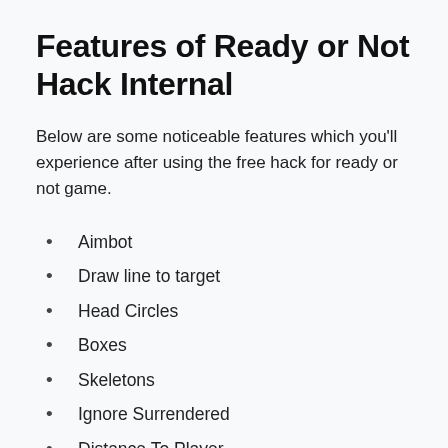Features of Ready or Not Hack Internal
Below are some noticeable features which you'll experience after using the free hack for ready or not game.
Aimbot
Draw line to target
Head Circles
Boxes
Skeletons
Ignore Surrendered
Distance To Player
Snaplines
Team Names